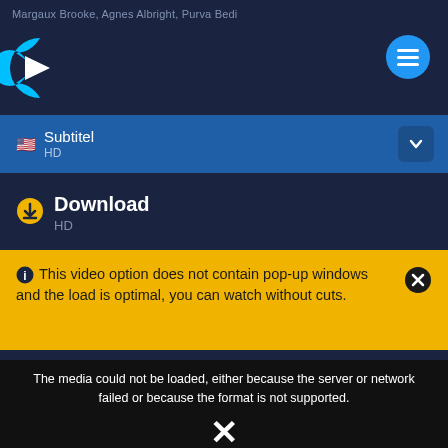Margaux Brooke, Agnes Albright, Purva Bedi
[Figure (logo): Streaming service logo - white C-shape and play triangle on dark background]
[Figure (other): Blue circular hamburger/menu button with three white horizontal lines]
Subtitel
HD
Download
HD
This video option does not contain pop-up windows and the load is optimal, you can watch without cuts.
The media could not be loaded, either because the server or network failed or because the format is not supported.